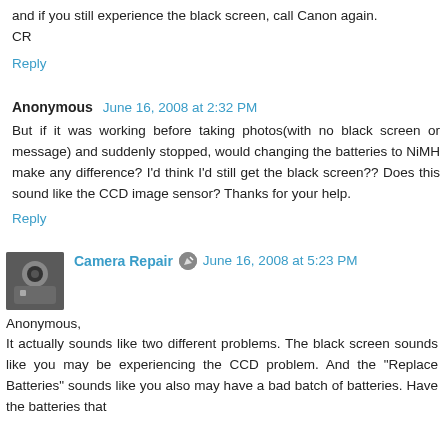and if you still experience the black screen, call Canon again.
CR
Reply
Anonymous  June 16, 2008 at 2:32 PM
But if it was working before taking photos(with no black screen or message) and suddenly stopped, would changing the batteries to NiMH make any difference? I'd think I'd still get the black screen?? Does this sound like the CCD image sensor? Thanks for your help.
Reply
Camera Repair  June 16, 2008 at 5:23 PM
Anonymous,
It actually sounds like two different problems. The black screen sounds like you may be experiencing the CCD problem. And the "Replace Batteries" sounds like you also may have a bad batch of batteries. Have the batteries that